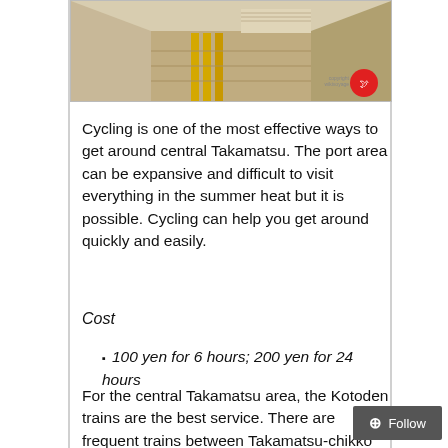[Figure (photo): Interior of a Japanese train station hallway with yellow tactile paving strips on the floor, stairs in the background, and a watermark/logo in the bottom right corner.]
Cycling is one of the most effective ways to get around central Takamatsu. The port area can be expansive and difficult to visit everything in the summer heat but it is possible. Cycling can help you get around quickly and easily.
Cost
100 yen for 6 hours; 200 yen for 24 hours
For the central Takamatsu area, the Kotoden trains are the best service. There are frequent trains between Takamatsu-chikko (port) and Kawaramachi (downtown). For many, walking will be more convenient but if timed right, the trains